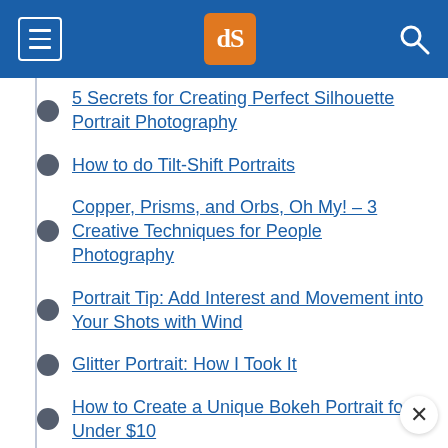dPS navigation header with hamburger menu, logo, and search icon
5 Secrets for Creating Perfect Silhouette Portrait Photography
How to do Tilt-Shift Portraits
Copper, Prisms, and Orbs, Oh My! – 3 Creative Techniques for People Photography
Portrait Tip: Add Interest and Movement into Your Shots with Wind
Glitter Portrait: How I Took It
How to Create a Unique Bokeh Portrait for Under $10
5 Ways to Use a Piece of Glass for Unique